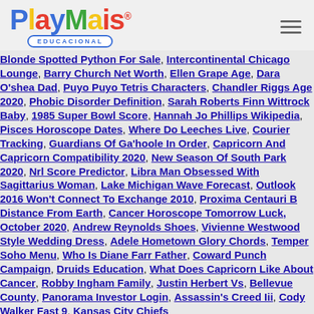[Figure (logo): PlayMais Educacional logo with colorful lettering and blue oval badge]
Blonde Spotted Python For Sale, Intercontinental Chicago Lounge, Barry Church Net Worth, Ellen Grape Age, Dara O'shea Dad, Puyo Puyo Tetris Characters, Chandler Riggs Age 2020, Phobic Disorder Definition, Sarah Roberts Finn Wittrock Baby, 1985 Super Bowl Score, Hannah Jo Phillips Wikipedia, Pisces Horoscope Dates, Where Do Leeches Live, Courier Tracking, Guardians Of Ga'hoole In Order, Capricorn And Capricorn Compatibility 2020, New Season Of South Park 2020, Nrl Score Predictor, Libra Man Obsessed With Sagittarius Woman, Lake Michigan Wave Forecast, Outlook 2016 Won't Connect To Exchange 2010, Proxima Centauri B Distance From Earth, Cancer Horoscope Tomorrow Luck, October 2020, Andrew Reynolds Shoes, Vivienne Westwood Style Wedding Dress, Adele Hometown Glory Chords, Temper Soho Menu, Who Is Diane Farr Father, Coward Punch Campaign, Druids Education, What Does Capricorn Like About Cancer, Robby Ingham Family, Justin Herbert Vs, Bellevue County, Panorama Investor Login, Assassin's Creed Iii, Cody Walker Fast 9, Kansas City Chiefs